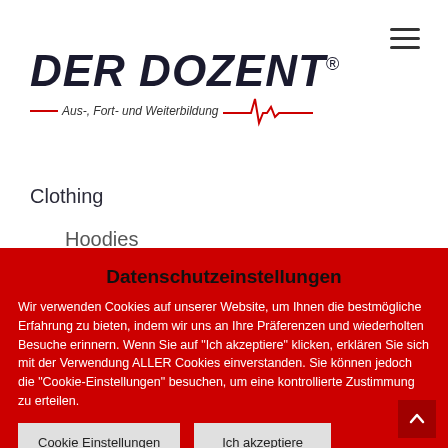[Figure (logo): Der Dozent logo with red ECG line and tagline 'Aus-, Fort- und Weiterbildung']
Clothing
Hoodies
T-shirts
Music
Albums
Datenschutzeinstellungen
Wir verwenden Cookies auf unserer Website, um Ihnen die bestmögliche Erfahrung zu bieten, indem wir uns an Ihre Präferenzen und wiederholten Besuche erinnern. Wenn Sie auf "Ich akzeptiere" klicken, erklären Sie sich mit der Verwendung ALLER Cookies einverstanden. Sie können jedoch die "Cookie-Einstellungen" besuchen, um eine kontrollierte Zustimmung zu erteilen.
Cookie Einstellungen
Ich akzeptiere